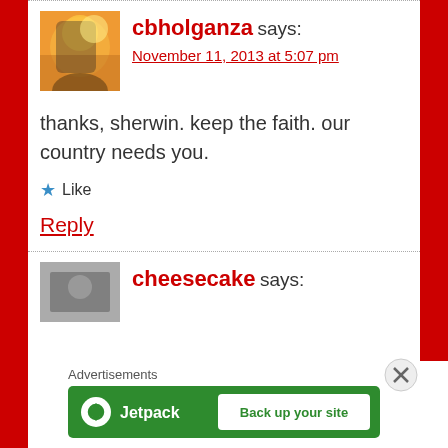cbholganza says:
November 11, 2013 at 5:07 pm
thanks, sherwin. keep the faith. our country needs you.
Like
Reply
cheesecake says:
Advertisements
[Figure (screenshot): Jetpack advertisement banner with 'Back up your site' button]